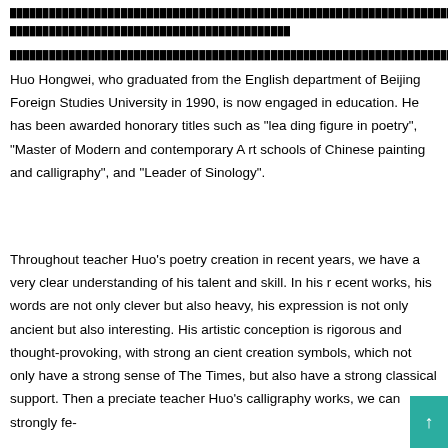[Chinese characters - line 1 full width]
[Chinese characters - line 2 partial]
[Chinese characters - line 3]
Huo Hongwei, who graduated from the English department of Beijing Foreign Studies University in 1990, is now engaged in education. He has been awarded honorary titles such as “lea ding figure in poetry”, “Master of Modern and contemporary Art schools of Chinese painting and calligraphy”, and “Leader of Sinology”.
Throughout teacher Huo’s poetry creation in recent years, we have a very clear understanding of his talent and skill. In his recent works, his words are not only clever but also heavy, his expression is not only ancient but also interesting. His artistic conception is rigorous and thought-provoking, with strong ancient creation symbols, which not only have a strong sense of The Times, but also have a strong classical support. Then appreciate teacher Huo’s calligraphy works, we can strongly fe-